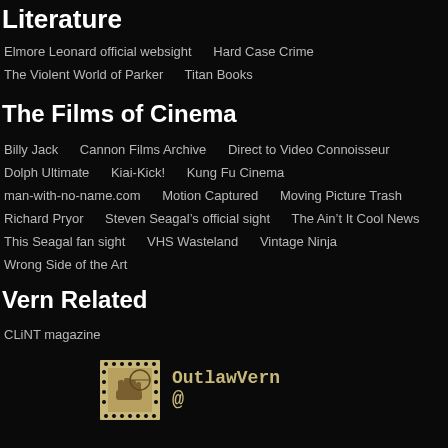Literature
Elmore Leonard official websight    Hard Case Crime
The Violent World of Parker    Titan Books
The Films of Cinema
Billy Jack    Cannon Films Archive    Direct to Video Connoisseur
Dolph Ultimate    Kiai-Kick!    Kung Fu Cinema
man-with-no-name.com    Motion Captured    Moving Picture Trash
Richard Pryor    Steven Seagal’s official sight    The Ain’t It Cool News
This Seagal fan sight    VHS Wasteland    Vintage Ninja
Wrong Side of the Art
Vern Related
CLiNT magazine
[Figure (illustration): A postage stamp image (sepia/tan colored) with a fist/hand graphic, next to text reading OutlawVern @]